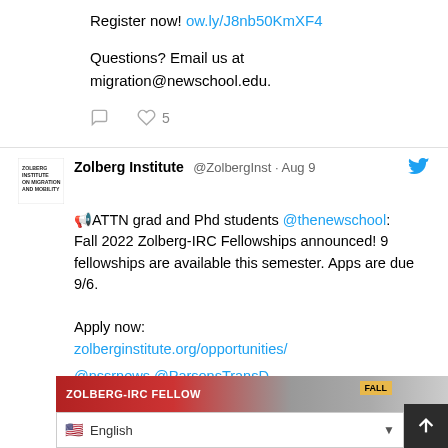Register now! ow.ly/J8nb50KmXF4
Questions? Email us at migration@newschool.edu.
🔴 5 likes
Zolberg Institute @ZolbergInst · Aug 9
📢 ATTN grad and Phd students @thenewschool: Fall 2022 Zolberg-IRC Fellowships announced! 9 fellowships are available this semester. Apps are due 9/6.

Apply now:
zolberginstitute.org/opportunities/

@nssrnews @ParsonsTransD @NewSchool_IA @MilanoSchool
[Figure (screenshot): Preview image of Zolberg-IRC Fellowships promotional banner with FALL label and language selector showing English]